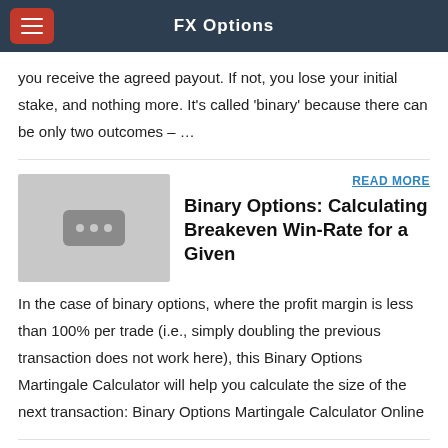FX Options
you receive the agreed payout. If not, you lose your initial stake, and nothing more. It's called 'binary' because there can be only two outcomes – …
READ MORE
[Figure (photo): Placeholder thumbnail image with three dots]
Binary Options: Calculating Breakeven Win-Rate for a Given
In the case of binary options, where the profit margin is less than 100% per trade (i.e., simply doubling the previous transaction does not work here), this Binary Options Martingale Calculator will help you calculate the size of the next transaction: Binary Options Martingale Calculator Online
READ MORE
[Figure (line-chart): Gold Trading Chart thumbnail at bottom of page]
PAMA Options Intro...